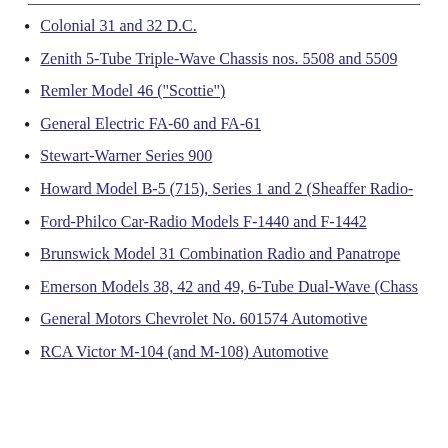Colonial 31 and 32 D.C.
Zenith 5-Tube Triple-Wave Chassis nos. 5508 and 5509
Remler Model 46 ("Scottie")
General Electric FA-60 and FA-61
Stewart-Warner Series 900
Howard Model B-5 (715), Series 1 and 2 (Sheaffer Radio-
Ford-Philco Car-Radio Models F-1440 and F-1442
Brunswick Model 31 Combination Radio and Panatrope
Emerson Models 38, 42 and 49, 6-Tube Dual-Wave (Chass
General Motors Chevrolet No. 601574 Automotive
RCA Victor M-104 (and M-108) Automotive